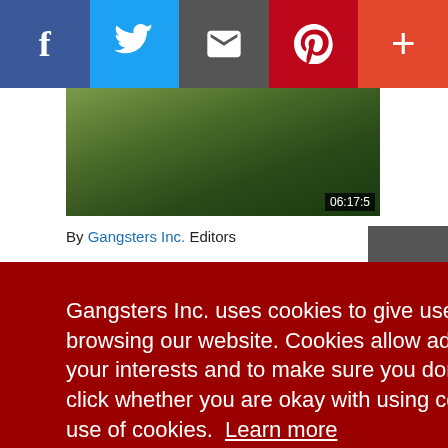[Figure (screenshot): Social media share bar with Facebook, Twitter, Email, Pinterest, and plus buttons]
[Figure (screenshot): Video thumbnail showing a figure in green, timestamped 06:17:5]
By Gangsters Inc. Editors
Gangsters Inc. uses cookies to give users a better experience while browsing our website. Cookies allow advertisers to target ads based on your interests and to make sure you don't see ads you don't like. Please click whether you are okay with using cookies or whether you decline the use of cookies. Learn more
Decline
Got it!